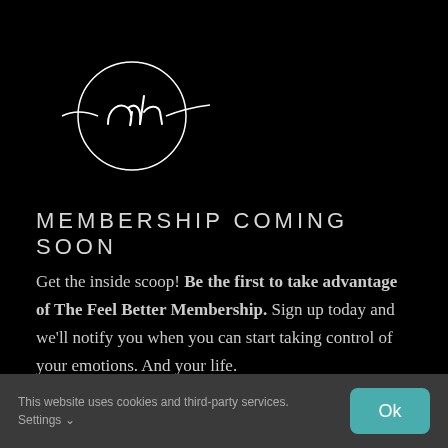[Figure (logo): Circular cursive logo with letters 'ah' inside a hand-drawn circle, with decorative flourish lines, white on black background]
MEMBERSHIP COMING SOON
Get the inside scoop! Be the first to take advantage of The Feel Better Membership. Sign up today and we'll notify you when you can start taking control of your emotions. And your life.
This website uses cookies and third-party services. Settings